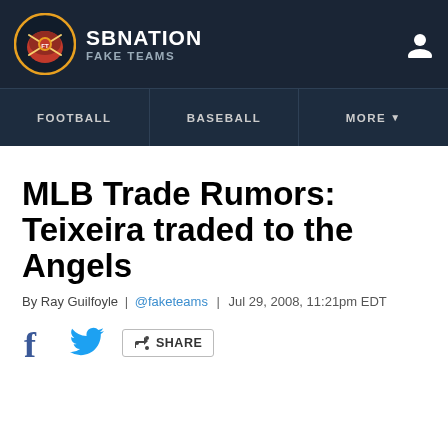SB NATION FAKE TEAMS
MLB Trade Rumors: Teixeira traded to the Angels
By Ray Guilfoyle | @faketeams | Jul 29, 2008, 11:21pm EDT